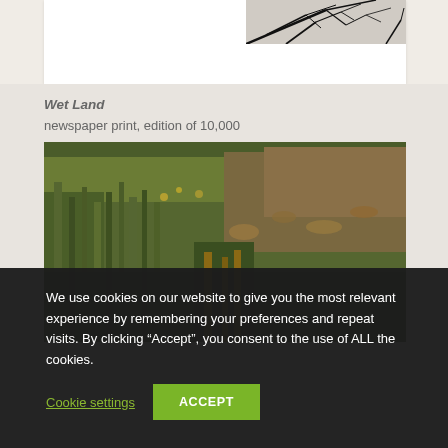[Figure (photo): Partial view of a white card/box with a black-and-white botanical or branch photo on the right side, partially visible at top of page]
Wet Land
newspaper print, edition of 10,000
[Figure (photo): Landscape photograph of a wetland scene with dense green reeds, grasses, and marsh vegetation in warm tones]
We use cookies on our website to give you the most relevant experience by remembering your preferences and repeat visits. By clicking “Accept”, you consent to the use of ALL the cookies.
Cookie settings
ACCEPT